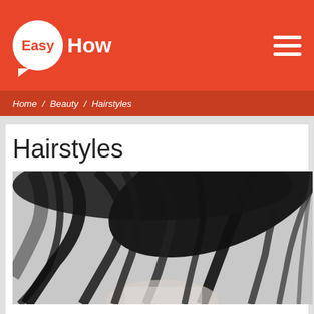EasyHow
Home / Beauty / Hairstyles
Hairstyles
[Figure (photo): Black and white photo of a woman tossing her long dark hair dynamically against a light background]
How to dye your hair with Basma in black color